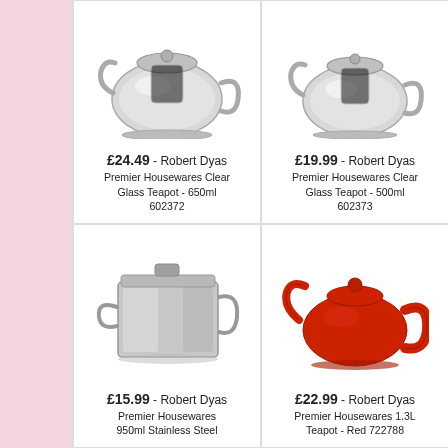[Figure (photo): Premier Housewares Clear Glass Teapot 650ml - stainless steel and glass teapot product photo, top portion visible]
[Figure (photo): Premier Housewares Clear Glass Teapot 500ml - stainless steel and glass teapot product photo, top portion visible]
£24.49 - Robert Dyas
Premier Housewares Clear Glass Teapot - 650ml 602372
£19.99 - Robert Dyas
Premier Housewares Clear Glass Teapot - 500ml 602373
[Figure (photo): Premier Housewares 950ml Stainless Steel teapot - square stainless steel teapot product photo]
[Figure (photo): Premier Housewares 1.3L Teapot Red 722788 - red ceramic teapot product photo]
£15.99 - Robert Dyas
Premier Housewares 950ml Stainless Steel
£22.99 - Robert Dyas
Premier Housewares 1.3L Teapot - Red 722788